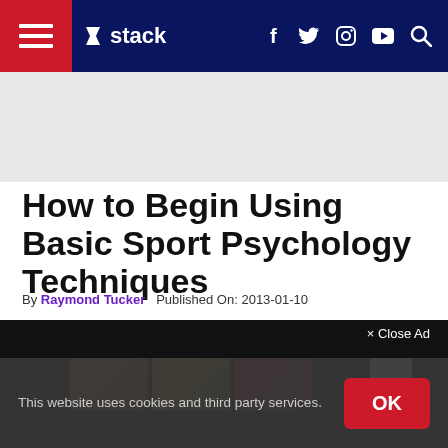stack — navigation bar with hamburger menu, logo, social icons (f, Twitter, Instagram, YouTube), search
[Figure (other): Advertisement banner placeholder (light gray background)]
How to Begin Using Basic Sport Psychology Techniques
By Raymond Tucker   Published On: 2013-01-10
[Figure (other): Dark video/media section with Close Ad button and thumbnail strip showing basketball, yellow, and red sport thumbnails]
This website uses cookies and third party services.